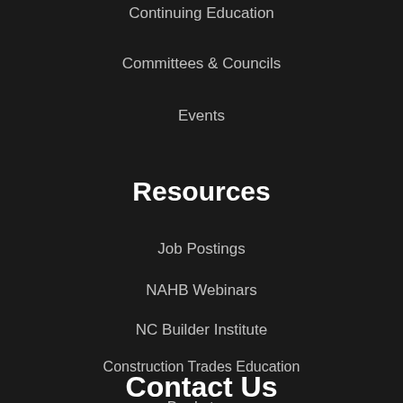Continuing Education
Committees & Councils
Events
Resources
Job Postings
NAHB Webinars
NC Builder Institute
Construction Trades Education
Bookstore
Contact Us